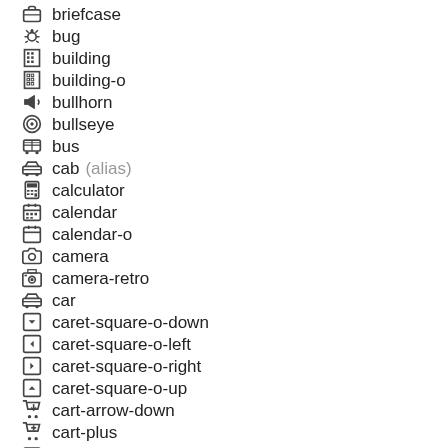briefcase
bug
building
building-o
bullhorn
bullseye
bus
cab (alias)
calculator
calendar
calendar-o
camera
camera-retro
car
caret-square-o-down
caret-square-o-left
caret-square-o-right
caret-square-o-up
cart-arrow-down
cart-plus
cc